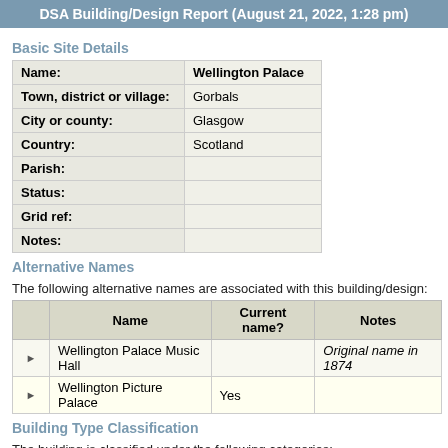DSA Building/Design Report (August 21, 2022, 1:28 pm)
Basic Site Details
| Field | Value |
| --- | --- |
| Name: | Wellington Palace |
| Town, district or village: | Gorbals |
| City or county: | Glasgow |
| Country: | Scotland |
| Parish: |  |
| Status: |  |
| Grid ref: |  |
| Notes: |  |
Alternative Names
The following alternative names are associated with this building/design:
|  | Name | Current name? | Notes |
| --- | --- | --- | --- |
| ▶ | Wellington Palace Music Hall |  | Original name in 1874 |
| ▶ | Wellington Picture Palace | Yes |  |
Building Type Classification
The building is classified under the following categories:
| Classification | Original classification? | Notes |
| --- | --- | --- |